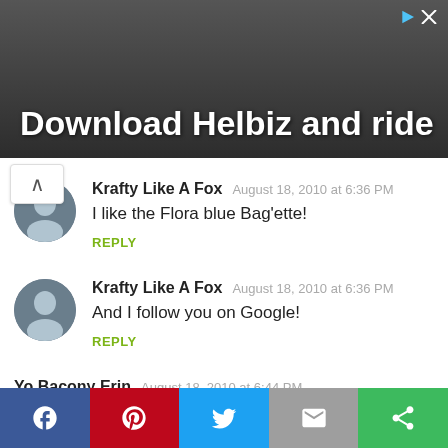[Figure (photo): Advertisement banner with dark background showing 'Download Helbiz and ride' text in white]
Krafty Like A Fox  August 18, 2010 at 6:36 PM
I like the Flora blue Bag'ette!
REPLY
Krafty Like A Fox  August 18, 2010 at 6:36 PM
And I follow you on Google!
REPLY
Yo Bacony Erin  August 18, 2010 at 6:44 PM
I already follow you on Facebook!
REPLY
[Figure (infographic): Social sharing bar with Facebook, Pinterest, Twitter, Email, and More buttons]